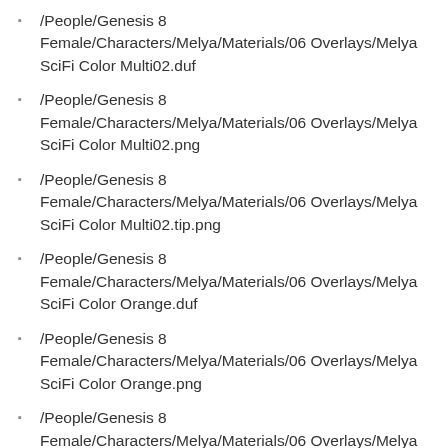/People/Genesis 8 Female/Characters/Melya/Materials/06 Overlays/Melya SciFi Color Multi02.duf
/People/Genesis 8 Female/Characters/Melya/Materials/06 Overlays/Melya SciFi Color Multi02.png
/People/Genesis 8 Female/Characters/Melya/Materials/06 Overlays/Melya SciFi Color Multi02.tip.png
/People/Genesis 8 Female/Characters/Melya/Materials/06 Overlays/Melya SciFi Color Orange.duf
/People/Genesis 8 Female/Characters/Melya/Materials/06 Overlays/Melya SciFi Color Orange.png
/People/Genesis 8 Female/Characters/Melya/Materials/06 Overlays/Melya SciFi Color Orange.tip.png
/People/Genesis 8 Female/Characters/Melya/Materials/06